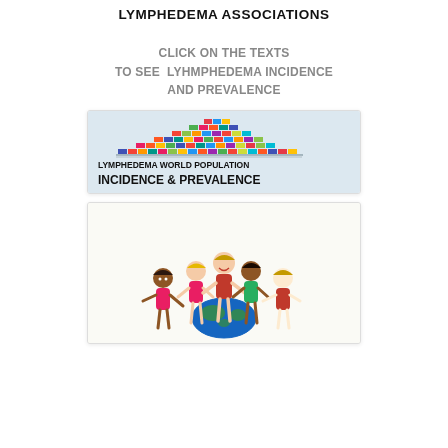LYMPHEDEMA ASSOCIATIONS
CLICK ON THE TEXTS
TO SEE  LYHMPHEDEMA INCIDENCE
AND PREVALENCE
[Figure (illustration): Card showing a pyramid of world flags above bold text: LYMPHEDEMA WORLD POPULATION INCIDENCE & PREVALENCE]
[Figure (illustration): Card showing cartoon children of diverse ethnicities holding hands around a globe]